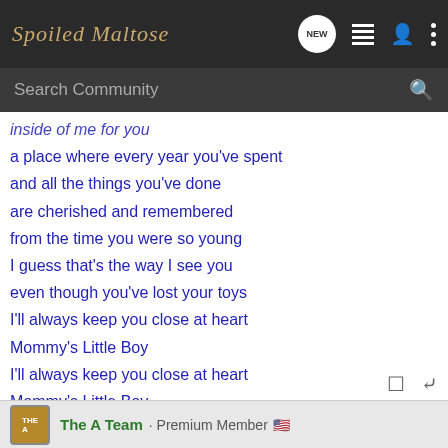Spoiled Maltese
inside of me for you
a place where every year you've spent
and all the things you've done
are cherished and remembered
from the time you were so young
I guess that's the way I see you
even though you've lost your toys
I'll always keep you close at heart
Mommy's Little Boy
I'll always keep you close at heart
Mommy's Little Boy
The A Team · Premium Member 🇺🇸